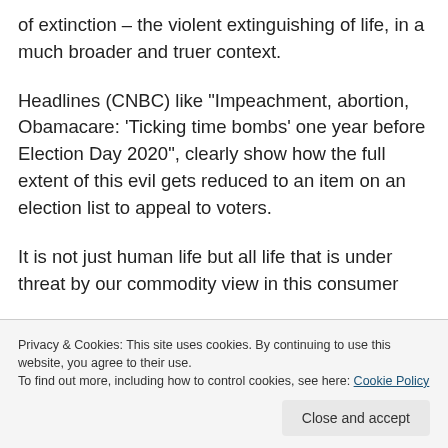of extinction – the violent extinguishing of life, in a much broader and truer context.
Headlines (CNBC) like “Impeachment, abortion, Obamacare: ‘Ticking time bombs’ one year before Election Day 2020”, clearly show how the full extent of this evil gets reduced to an item on an election list to appeal to voters.
It is not just human life but all life that is under threat by our commodity view in this consumer
Privacy & Cookies: This site uses cookies. By continuing to use this website, you agree to their use.
To find out more, including how to control cookies, see here: Cookie Policy
Close and accept